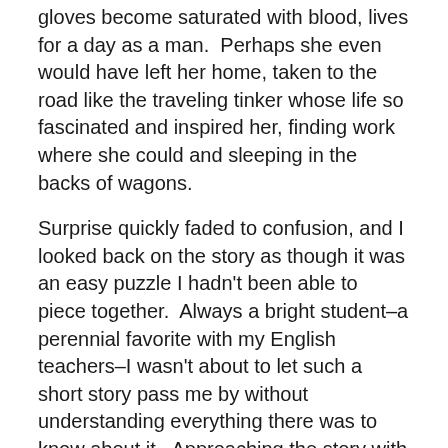gloves become saturated with blood, lives for a day as a man.  Perhaps she even would have left her home, taken to the road like the traveling tinker whose life so fascinated and inspired her, finding work where she could and sleeping in the backs of wagons.
Surprise quickly faded to confusion, and I looked back on the story as though it was an easy puzzle I hadn't been able to piece together.  Always a bright student–a perennial favorite with my English teachers–I wasn't about to let such a short story pass me by without understanding everything there was to know about it.  Approaching the story with new eyes, I read again.
I found that reading took energy from me.  The